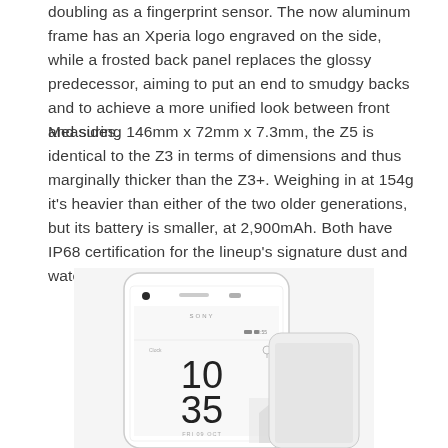doubling as a fingerprint sensor. The now aluminum frame has an Xperia logo engraved on the side, while a frosted back panel replaces the glossy predecessor, aiming to put an end to smudgy backs and to achieve a more unified look between front and sides.
Measuring 146mm x 72mm x 7.3mm, the Z5 is identical to the Z3 in terms of dimensions and thus marginally thicker than the Z3+. Weighing in at 154g it's heavier than either of the two older generations, but its battery is smaller, at 2,900mAh. Both have IP68 certification for the lineup's signature dust and water resistance.
[Figure (photo): Sony Xperia Z5 smartphone shown in white color, displaying a lock screen with time 10:35 and date FRI 09 OCT, with SONY branding visible on the front.]